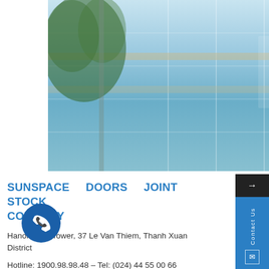[Figure (photo): Exterior photo of a glass-facade office building with reflective blue-green glass panels and a tree visible on the left side]
SUNSPACE DOORS JOINT STOCK COMPANY
Hanoi: ADG Tower, 37 Le Van Thiem, Thanh Xuan District
Hotline: 1900.98.98.48 – Tel: (024) 44 55 00 66
HCM: SAIGON PRIME Building – No. 107-109-111 Nguyen Dinh Chieu, District 3
(028) 62 57 78 55
FACTORY : D3 Street, Pho Noi A Industrial Park,